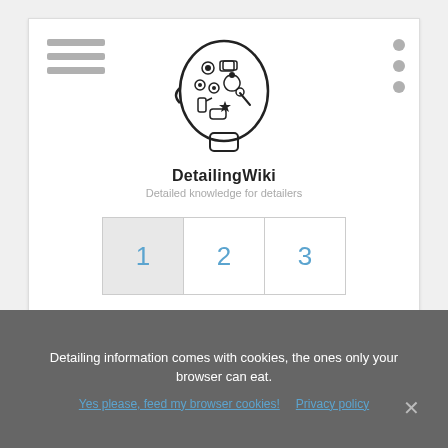[Figure (logo): DetailingWiki logo — stylized human head silhouette filled with car detailing tools and objects, with text 'DetailingWiki' and tagline 'Detailed knowledge for detailers']
[Figure (infographic): Pagination buttons showing pages 1, 2, 3 with page 1 highlighted/active]
Privacy Policy
About DetailingWiki
Disclaimer
Detailing information comes with cookies, the ones only your browser can eat.
Yes please, feed my browser cookies!
Privacy policy